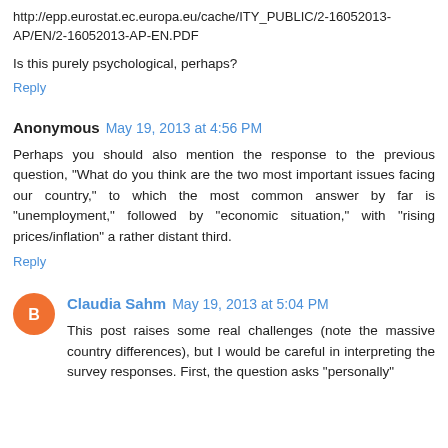http://epp.eurostat.ec.europa.eu/cache/ITY_PUBLIC/2-16052013-AP/EN/2-16052013-AP-EN.PDF
Is this purely psychological, perhaps?
Reply
Anonymous  May 19, 2013 at 4:56 PM
Perhaps you should also mention the response to the previous question, "What do you think are the two most important issues facing our country," to which the most common answer by far is "unemployment," followed by "economic situation," with "rising prices/inflation" a rather distant third.
Reply
Claudia Sahm  May 19, 2013 at 5:04 PM
This post raises some real challenges (note the massive country differences), but I would be careful in interpreting the survey responses. First, the question asks "personally"